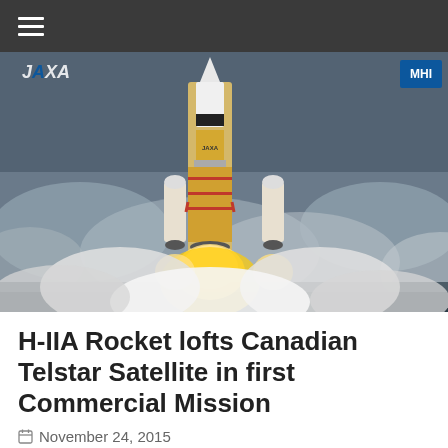≡
[Figure (photo): JAXA H-IIA rocket launching with bright flames and smoke billowing at its base, against a cloudy sky. JAXA and MHI logos visible in corners.]
H-IIA Rocket lofts Canadian Telstar Satellite in first Commercial Mission
November 24, 2015
Japan's H-IIA rocket checked off a success on its first commercial mission to Geostationary Transfer Orbit on